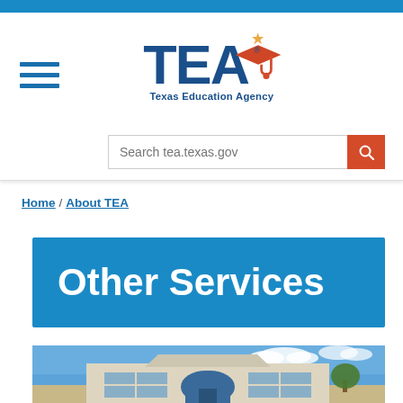[Figure (logo): Texas Education Agency (TEA) logo with graduation cap icon]
Search tea.texas.gov
Home / About TEA
Other Services
[Figure (photo): Photo of a building exterior, likely the TEA headquarters, showing a modern beige/tan building with large windows and blue sky background]